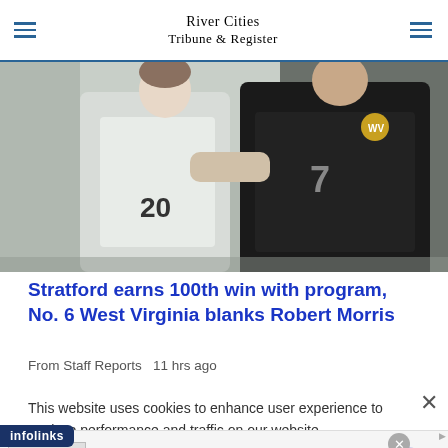River Cities Tribune & Register
[Figure (photo): Two soccer players running side by side — one in a white jersey numbered 20, one in a dark jersey numbered 7 with gold accents]
Stratford earns 100th win with program, No. 6 West Virginia blanks Robert Morris
From Staff Reports  11 hrs ago
This website uses cookies to enhance user experience to analyze performance and traffic on our website.
[Figure (screenshot): infolinks ad banner — Women's Fashion | Shop Online | VENUS — Shop the best in women's fashion, clothing, swimwear — venus.com]